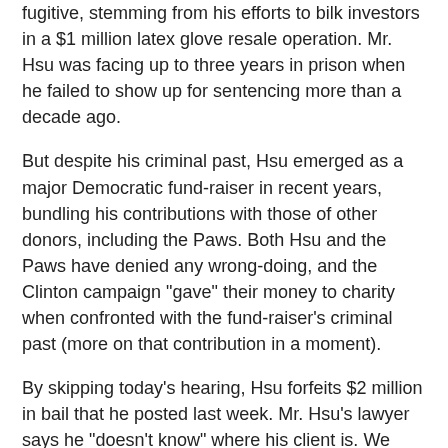fugitive, stemming from his efforts to bilk investors in a $1 million latex glove resale operation. Mr. Hsu was facing up to three years in prison when he failed to show up for sentencing more than a decade ago.
But despite his criminal past, Hsu emerged as a major Democratic fund-raiser in recent years, bundling his contributions with those of other donors, including the Paws. Both Hsu and the Paws have denied any wrong-doing, and the Clinton campaign "gave" their money to charity when confronted with the fund-raiser's criminal past (more on that contribution in a moment).
By skipping today's hearing, Hsu forfeits $2 million in bail that he posted last week. Mr. Hsu's lawyer says he "doesn't know" where his client is. We can't offer a precise location, but a good place to begin the search is China. After all, it's the refuge of choice for Clinton contributors caught in criminal or questionable activities. Following the Clinton donor scandal in 1996, scores of Chinese "contributors" fled the country to avoid indictment, or testimony before Congressional committees.